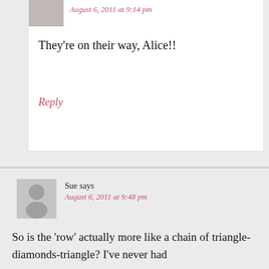[Figure (photo): Small avatar/profile photo thumbnail at top]
August 6, 2011 at 9:14 pm
They're on their way, Alice!!
Reply
[Figure (illustration): Generic gray avatar silhouette placeholder for user Sue]
Sue says
August 6, 2011 at 9:48 pm
So is the 'row' actually more like a chain of triangle-diamonds-triangle? I've never had